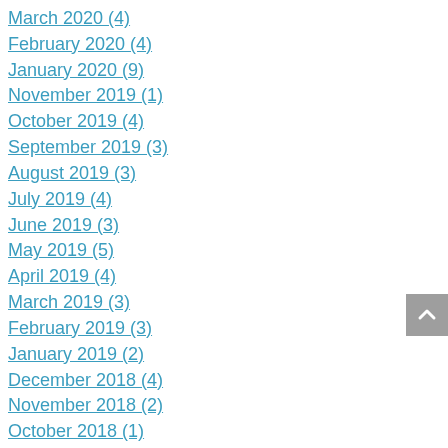March 2020 (4)
February 2020 (4)
January 2020 (9)
November 2019 (1)
October 2019 (4)
September 2019 (3)
August 2019 (3)
July 2019 (4)
June 2019 (3)
May 2019 (5)
April 2019 (4)
March 2019 (3)
February 2019 (3)
January 2019 (2)
December 2018 (4)
November 2018 (2)
October 2018 (1)
August 2018 (2)